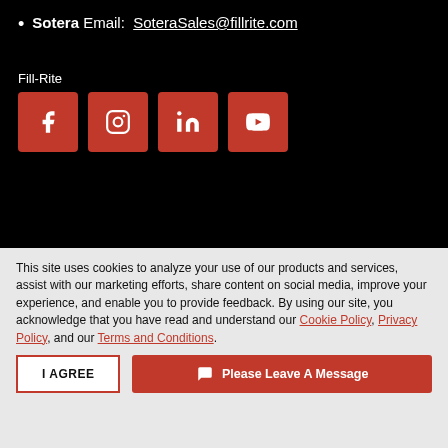Sotera Email: SoteraSales@fillrite.com
Fill-Rite
[Figure (infographic): Four social media icon buttons (Facebook, Instagram, LinkedIn, YouTube) in red square tiles]
This site uses cookies to analyze your use of our products and services, assist with our marketing efforts, share content on social media, improve your experience, and enable you to provide feedback. By using our site, you acknowledge that you have read and understand our Cookie Policy, Privacy Policy, and our Terms and Conditions.
I AGREE | Please Leave A Message